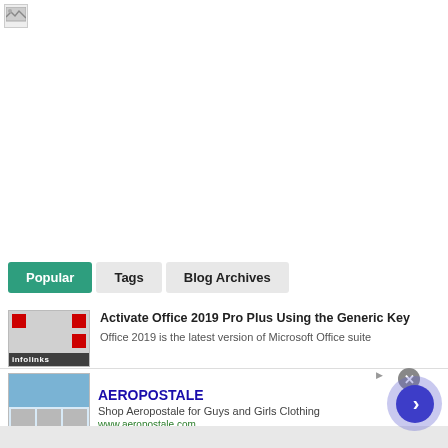[Figure (other): Broken image icon in top-left corner]
Popular	Tags	Blog Archives
Activate Office 2019 Pro Plus Using the Generic Key
Office 2019 is the latest version of Microsoft Office suite
AEROPOSTALE
Shop Aeropostale for Guys and Girls Clothing
www.aeropostale.com